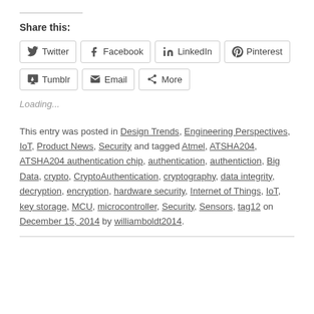Share this:
Twitter | Facebook | LinkedIn | Pinterest | Tumblr | Email | More
Loading...
This entry was posted in Design Trends, Engineering Perspectives, IoT, Product News, Security and tagged Atmel, ATSHA204, ATSHA204 authentication chip, authentication, authentiction, Big Data, crypto, CryptoAuthentication, cryptography, data integrity, decryption, encryption, hardware security, Internet of Things, IoT, key storage, MCU, microcontroller, Security, Sensors, tag12 on December 15, 2014 by williamboldt2014.